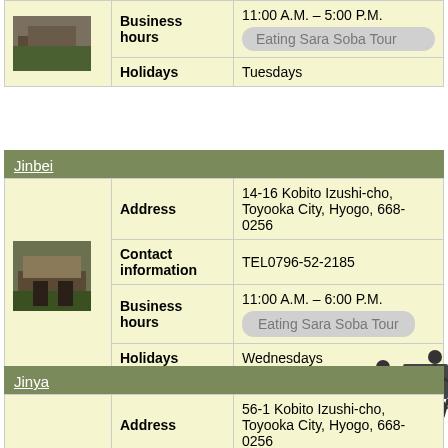|  | Field | Value |
| --- | --- | --- |
| [photo] | Business hours | 11:00 A.M. – 5:00 P.M. |
|  | Holidays | Tuesdays |
Jinbei
|  | Field | Value |
| --- | --- | --- |
| [photo] | Address | 14-16 Kobito Izushi-cho, Toyooka City, Hyogo, 668-0256 |
|  | Contact information | TEL0796-52-2185 |
|  | Business hours | 11:00 A.M. – 6:00 P.M. / Eating Sara Soba Tour |
|  | Holidays | Wednesdays |
Jinya
|  | Field | Value |
| --- | --- | --- |
| [photo] | Address | 56-1 Kobito Izushi-cho, Toyooka City, Hyogo, 668-0256 |
|  | Contact | TEL 0796-52-3262 |